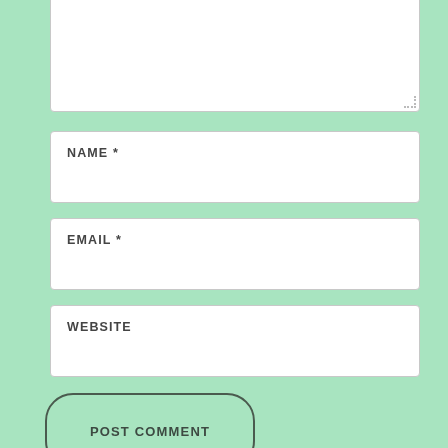[Figure (screenshot): Web comment form with a textarea (partially visible at top), three input fields labeled NAME *, EMAIL *, and WEBSITE, a POST COMMENT button with rounded corners, and two checkboxes labeled 'Notify me of new comments via email.' and 'Notify me of new posts via email.' All on a mint green background.]